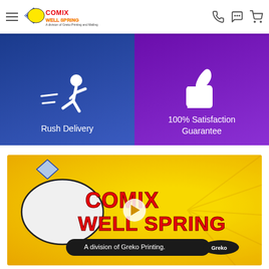[Figure (logo): Comix Well Spring logo with hamburger menu and navigation icons (phone, chat, cart)]
[Figure (infographic): Two-panel banner: left panel (blue) with running figure icon and text 'Rush Delivery'; right panel (purple) with thumbs-up icon and text '100% Satisfaction Guarantee']
Rush Delivery
100% Satisfaction Guarantee
[Figure (photo): Yellow-background video thumbnail showing Comix Well Spring logo with text 'A division of Greko Printing.' and a play button overlay]